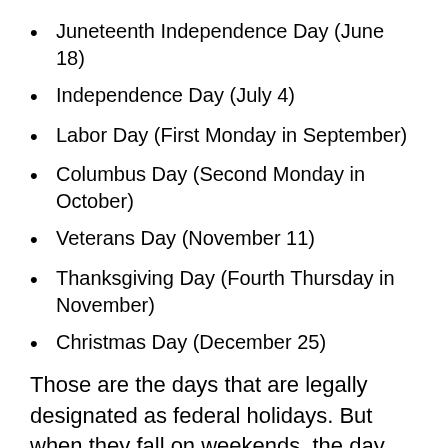Juneteenth Independence Day (June 18)
Independence Day (July 4)
Labor Day (First Monday in September)
Columbus Day (Second Monday in October)
Veterans Day (November 11)
Thanksgiving Day (Fourth Thursday in November)
Christmas Day (December 25)
Those are the days that are legally designated as federal holidays. But when they fall on weekends, the day we observe the holidays changes. When they fall on Saturdays, we observe them on Fridays. When they fall